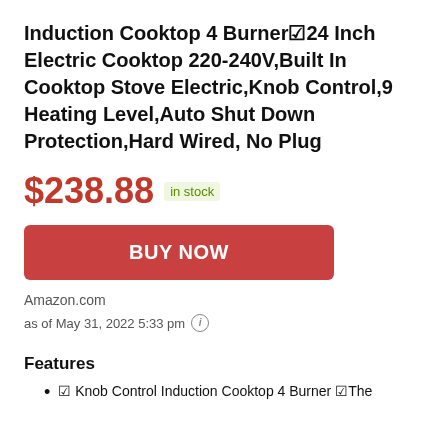Induction Cooktop 4 Burner☑ 24 Inch Electric Cooktop 220-240V,Built In Cooktop Stove Electric,Knob Control,9 Heating Level,Auto Shut Down Protection,Hard Wired, No Plug
$238.88  in stock
BUY NOW
Amazon.com
as of May 31, 2022 5:33 pm ⓘ
Features
☑ Knob Control Induction Cooktop 4 Burner ☑The